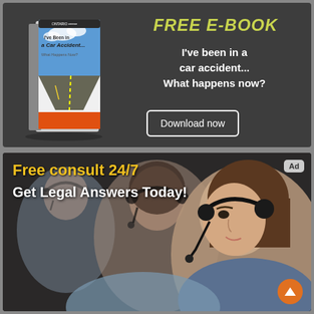[Figure (illustration): Free e-book advertisement banner on dark grey background showing a book cover titled 'I've been in a Car Accident... What Happens Now?' with road/sky imagery]
FREE E-BOOK
I've been in a car accident... What happens now?
Download now
[Figure (photo): Advertisement showing women wearing telephone headsets (call center operators) with text overlay 'Free consult 24/7 Get Legal Answers Today!' and an Ad badge in the top right corner and an orange scroll-to-top button in the bottom right]
Free consult 24/7
Get Legal Answers Today!